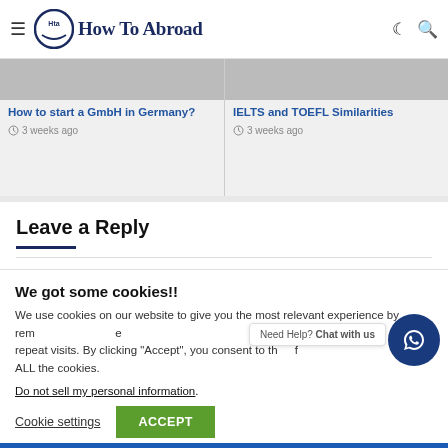How To Abroad
[Figure (screenshot): Article preview left: How to start a GmbH in Germany?]
3 weeks ago
[Figure (screenshot): Article preview right: IELTS and TOEFL Similarities]
3 weeks ago
Leave a Reply
We got some cookies!!
We use cookies on our website to give you the most relevant experience by remembering your preferences and repeat visits. By clicking "Accept", you consent to the use of ALL the cookies.
Do not sell my personal information.
Cookie settings
ACCEPT